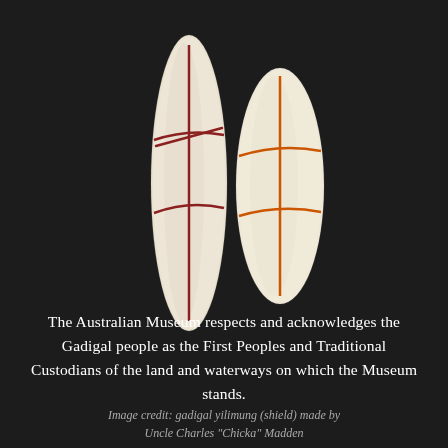[Figure (illustration): Two elongated leaf-shaped shields (gadigal yilimung) on a dark background. The left shield is taller and narrower, white/cream colored with dark red crossed lines — one vertical and two horizontal. The right shield is shorter and slightly wider, also white/cream with orange-red crossed lines. Both shields are oriented vertically.]
The Australian Museum respects and acknowledges the Gadigal people as the First Peoples and Traditional Custodians of the land and waterways on which the Museum stands.
Image credit: gadigal yilimung (shield) made by Uncle Charles "Chicka" Madden